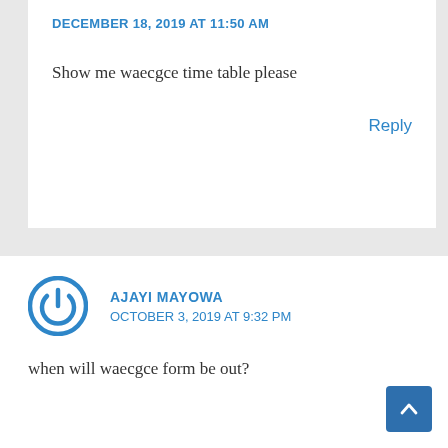DECEMBER 18, 2019 AT 11:50 AM
Show me waecgce time table please
Reply
AJAYI MAYOWA
OCTOBER 3, 2019 AT 9:32 PM
when will waecgce form be out?